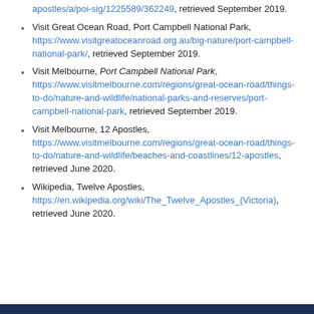apostles/a/poi-sig/1225589/362249, retrieved September 2019.
Visit Great Ocean Road, Port Campbell National Park, https://www.visitgreatoceanroad.org.au/big-nature/port-campbell-national-park/, retrieved September 2019.
Visit Melbourne, Port Campbell National Park, https://www.visitmelbourne.com/regions/great-ocean-road/things-to-do/nature-and-wildlife/national-parks-and-reserves/port-campbell-national-park, retrieved September 2019.
Visit Melbourne, 12 Apostles, https://www.visitmelbourne.com/regions/great-ocean-road/things-to-do/nature-and-wildlife/beaches-and-coastlines/12-apostles, retrieved June 2020.
Wikipedia, Twelve Apostles, https://en.wikipedia.org/wiki/The_Twelve_Apostles_(Victoria), retrieved June 2020.